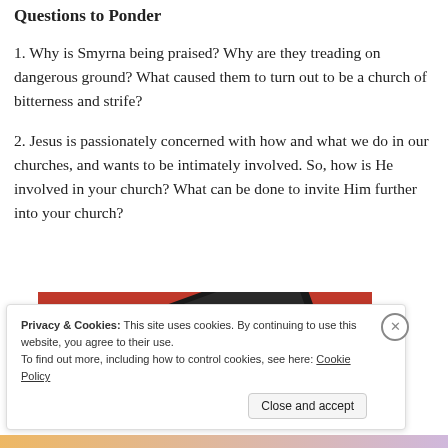Questions to Ponder
1. Why is Smyrna being praised? Why are they treading on dangerous ground? What caused them to turn out to be a church of bitterness and strife?
2. Jesus is passionately concerned with how and what we do in our churches, and wants to be intimately involved. So, how is He involved in your church? What can be done to invite Him further into your church?
[Figure (photo): A red smartphone or device with camera lenses visible, placed on a red background.]
Privacy & Cookies: This site uses cookies. By continuing to use this website, you agree to their use.
To find out more, including how to control cookies, see here: Cookie Policy
Close and accept